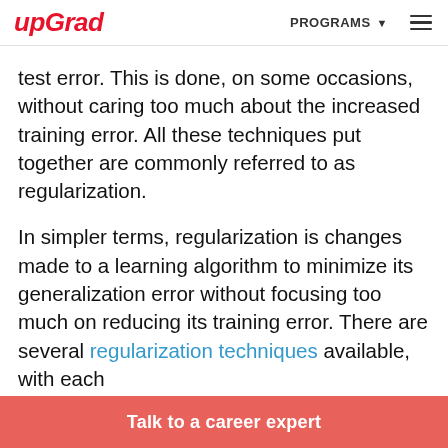upGrad | PROGRAMS ▾ ☰
test error. This is done, on some occasions, without caring too much about the increased training error. All these techniques put together are commonly referred to as regularization.
In simpler terms, regularization is changes made to a learning algorithm to minimize its generalization error without focusing too much on reducing its training error. There are several regularization techniques available, with each
Talk to a career expert